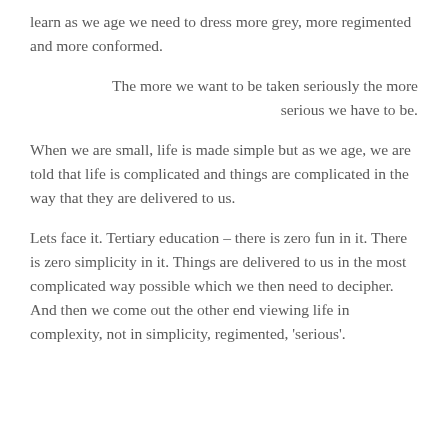learn as we age we need to dress more grey, more regimented and more conformed.
The more we want to be taken seriously the more serious we have to be.
When we are small, life is made simple but as we age, we are told that life is complicated and things are complicated in the way that they are delivered to us.
Lets face it. Tertiary education – there is zero fun in it. There is zero simplicity in it. Things are delivered to us in the most complicated way possible which we then need to decipher. And then we come out the other end viewing life in complexity, not in simplicity, regimented, 'serious'.